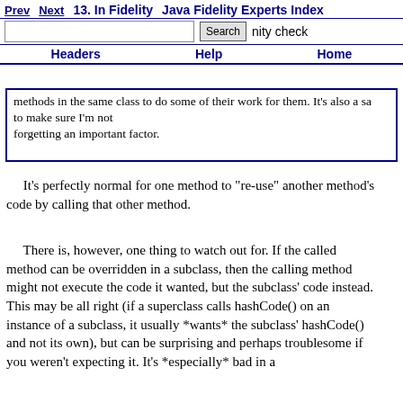Prev | Next | 13. In Fidelity | Java Fidelity Experts Index
methods in the same class to do some of their work for them. It's also a sanity check to make sure I'm not forgetting an important factor.
It's perfectly normal for one method to "re-use" another method's code by calling that other method.
There is, however, one thing to watch out for. If the called method can be overridden in a subclass, then the calling method might not execute the code it wanted, but the subclass' code instead. This may be all right (if a superclass calls hashCode() on an instance of a subclass, it usually *wants* the subclass' hashCode() and not its own), but can be surprising and perhaps troublesome if you weren't expecting it. It's *especially* bad in a